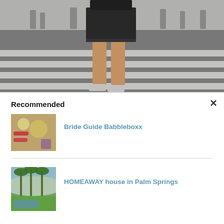[Figure (photo): Street crossing photo showing a person from mid-body down, wearing a dark denim skirt and silver/white sneakers, crossing a striped crosswalk in an urban setting]
×
Recommended
[Figure (photo): Thumbnail image of bride guide babbleboxx products including beauty items and flowers]
Bride Guide Babbleboxx
[Figure (photo): Thumbnail image of palm springs house with palm trees and green landscaping]
HOMEAWAY house in Palm Springs